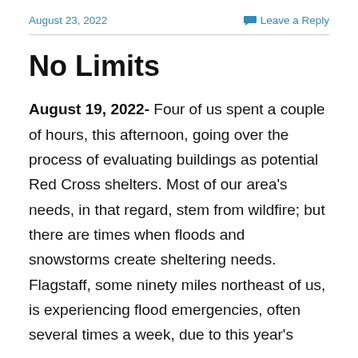August 23, 2022   Leave a Reply
No Limits
August 19, 2022- Four of us spent a couple of hours, this afternoon, going over the process of evaluating buildings as potential Red Cross shelters. Most of our area's needs, in that regard, stem from wildfire; but there are times when floods and snowstorms create sheltering needs. Flagstaff, some ninety miles northeast of us, is experiencing flood emergencies, often several times a week, due to this year's